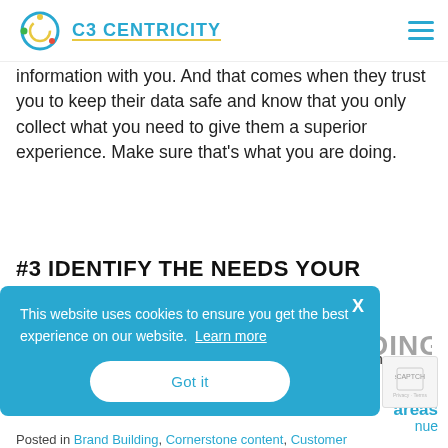C3 CENTRICITY
information with you. And that comes when they trust you to keep their data safe and know that you only collect what you need to give them a superior experience. Make sure that’s what you are doing.
#3 IDENTIFY THE NEEDS YOUR BRAND IS ADDRESSING
Do you know what needs your customer has and which
[Figure (screenshot): Cookie consent overlay banner in blue with text: 'This website uses cookies to ensure you get the best experience on our website. Learn more' and a 'Got it' button. Close X button in top right. Overlapping a watermark text 'I HOPE YOU ENJOY READING THIS'.]
areas
nue
Posted in Brand Building, Cornerstone content, Customer